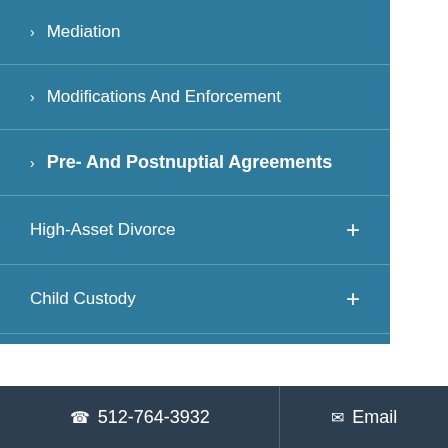> Mediation
> Modifications And Enforcement
> Pre- And Postnuptial Agreements
High-Asset Divorce +
Child Custody +
512-764-3932   Email